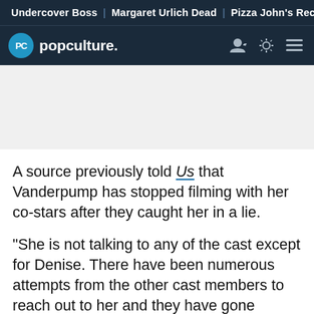Undercover Boss | Margaret Urlich Dead | Pizza John's Recal
popculture.
A source previously told Us that Vanderpump has stopped filming with her co-stars after they caught her in a lie.
"She is not talking to any of the cast except for Denise. There have been numerous attempts from the other cast members to reach out to her and they have gone unanswered," the source said. "The women feel like Lisa